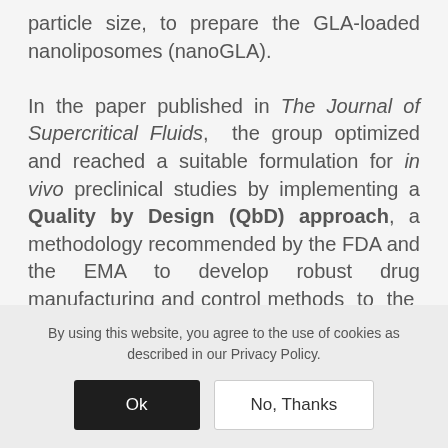particle size, to prepare the GLA-loaded nanoliposomes (nanoGLA).

In the paper published in The Journal of Supercritical Fluids, the group optimized and reached a suitable formulation for in vivo preclinical studies by implementing a Quality by Design (QbD) approach, a methodology recommended by the FDA and the EMA to develop robust drug manufacturing and control methods to the preparation of α-
By using this website, you agree to the use of cookies as described in our Privacy Policy.